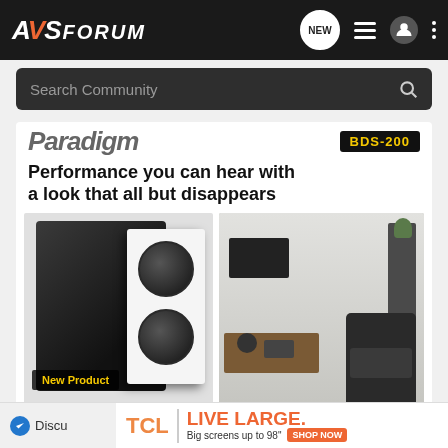AVSForum
Search Community
[Figure (screenshot): Paradigm speaker advertisement showing in-wall subwoofer and living room setup with headline 'Performance you can hear with a look that all but disappears' and 'New Product' badge]
collegekid · Registered
TCL | LIVE LARGE. Big screens up to 98" SHOP NOW